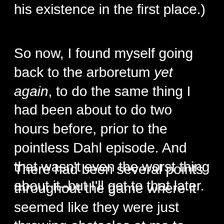…anything, but not much as to justify his existence in the first place.)
So now, I found myself going back to the arboretum yet again, to do the same thing I had been about to do two hours before, prior to the pointless Dahl episode. And that wasn't even the worst thing about it–but I'll get to that later.
There had been several points throughout the game where it seemed like they were just throwing obstacles at me to  make everything as hard as